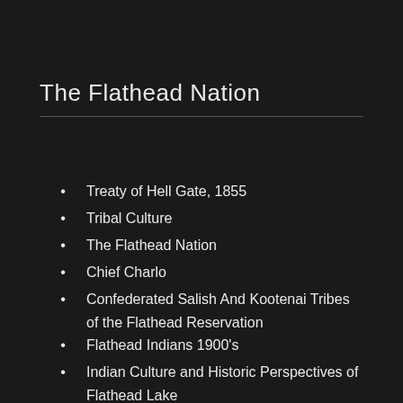The Flathead Nation
Treaty of Hell Gate, 1855
Tribal Culture
The Flathead Nation
Chief Charlo
Confederated Salish And Kootenai Tribes of the Flathead Reservation
Flathead Indians 1900's
Indian Culture and Historic Perspectives of Flathead Lake
The Flathead Tribe
The Kootenai Indians
The People of the Flathead Nation
The Salish Indians